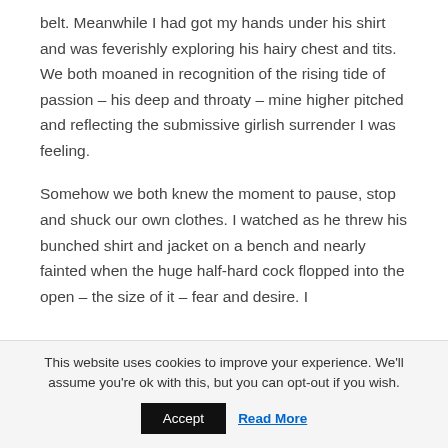belt. Meanwhile I had got my hands under his shirt and was feverishly exploring his hairy chest and tits. We both moaned in recognition of the rising tide of passion – his deep and throaty – mine higher pitched and reflecting the submissive girlish surrender I was feeling.
Somehow we both knew the moment to pause, stop and shuck our own clothes. I watched as he threw his bunched shirt and jacket on a bench and nearly fainted when the huge half-hard cock flopped into the open – the size of it – fear and desire. I
This website uses cookies to improve your experience. We'll assume you're ok with this, but you can opt-out if you wish.